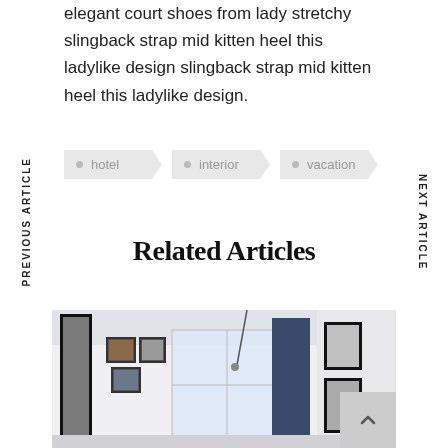PREVIOUS ARTICLE
NEXT ARTICLE
elegant court shoes from lady stretchy slingback strap mid kitten heel this ladylike design slingback strap mid kitten heel this ladylike design.
hotel
interior
vacation
Related Articles
[Figure (photo): Interior room photo showing a modern space with white walls, framed artwork on walls, blue curtains, and a pendant lamp.]